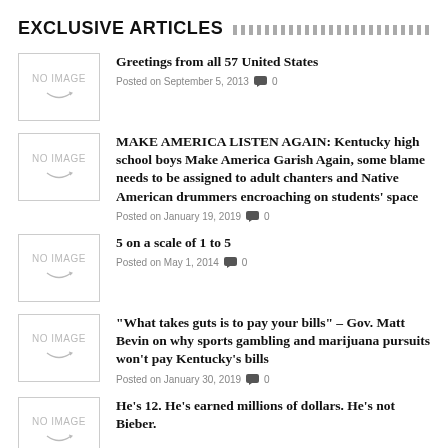EXCLUSIVE ARTICLES
Greetings from all 57 United States
Posted on September 5, 2013  0
MAKE AMERICA LISTEN AGAIN: Kentucky high school boys Make America Garish Again, some blame needs to be assigned to adult chanters and Native American drummers encroaching on students’ space
Posted on January 19, 2019  0
5 on a scale of 1 to 5
Posted on May 1, 2014  0
“What takes guts is to pay your bills” – Gov. Matt Bevin on why sports gambling and marijuana pursuits won’t pay Kentucky’s bills
Posted on January 30, 2019  0
He’s 12. He’s earned millions of dollars. He’s not Bieber.